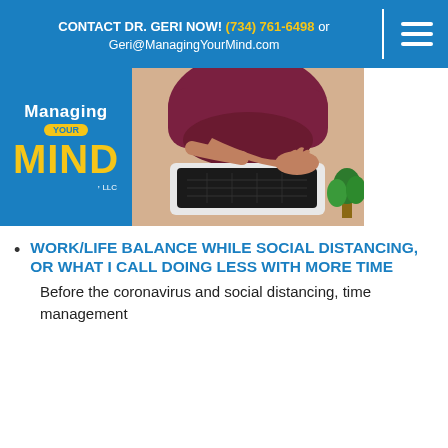CONTACT DR. GERI NOW! (734) 761-6498 or Geri@ManagingYourMind.com
[Figure (logo): Managing Your Mind LLC logo with blue background, yellow 'YOUR' oval, yellow 'MIND' text]
[Figure (photo): Person sitting cross-legged working on a laptop computer, viewed from above]
WORK/LIFE BALANCE WHILE SOCIAL DISTANCING, OR WHAT I CALL DOING LESS WITH MORE TIME
Before the coronavirus and social distancing, time management